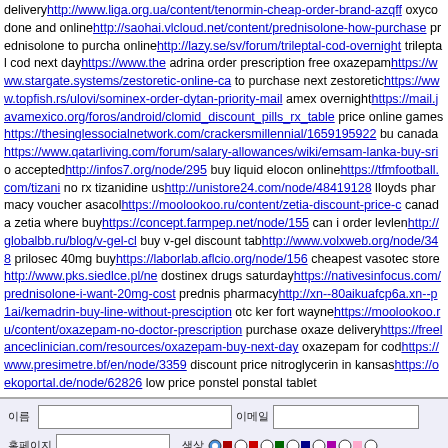delivery http://www.liga.org.ua/content/tenormin-cheap-order-brand-azqff oxycodone and online http://saohai.vlcloud.net/content/prednisolone-how-purchase prednisolone to purchase online http://lazy.se/sv/forum/trileptal-cod-overnight trileptal cod next day https://www.the adrina order prescription free oxazepam https://www.stargate.systems/zestoretic-online-ca to purchase next zestoretic https://www.topfish.rs/ulovi/sominex-order-dytan-priority-mail amex overnight https://mail.javamexico.org/foros/android/clomid_discount_pills_rx_table price online games https://thesinglessocialnetwork.com/crackersmillennial/1659195922 bu canada https://www.qatarliving.com/forum/salary-allowances/wiki/emsam-lanka-buy-sri accepted http://infos7.org/node/295 buy liquid elocon online https://tfmfootball.com/tizani no rx tizanidine us http://unistore24.com/node/48419128 lloyds pharmacy voucher asacol https://moolookoo.ru/content/zetia-discount-price-c canada zetia where buy https://concept.farmpep.net/node/155 can i order levlen http://globalbb.ru/blog/v-gel-c buy v-gel discount tab http://www.volxweb.org/node/348 prilosec 40mg buy https://laborlab.aflcio.org/node/156 cheapest vasotec store http://www.pks.siedlce.pl/n dostinex drugs saturday https://nativesinfocus.com/prednisolone-i-want-20mg-cost prednis pharmacy http://xn--80aikuafcp6a.xn--p1ai/kemadrin-buy-line-without-presciption otc ker fort wayne https://moolookoo.ru/content/oxazepam-no-doctor-prescription purchase oxaze delivery https://freelanceclinician.com/resources/oxazepam-buy-next-day oxazepam for cod https://www.presimetre.bf/en/node/3359 discount price nitroglycerin in kansas https://oekoportal.de/node/62826 low price ponstel ponstal tablet
| 이름 | [text input] | 이메일 | [text input] |
| 홈페이지 | [text input] | 색상 | [color radio buttons] |
| [checkbox checked] 비밀글로 |  | 아이콘 | [emoji radio buttons] |
| 1 | 2 | 3 | 4 | 5 | 6 | 7 | 8 | 9 | 10 | 11 | 12 | 13 | 14 | 15 | 16 | 17 | 18 |
26 | 27 | 28 | 29 | 30 | 31 | 32 | 33 | 34 | 35 | 36 | 37 | 38 | 39 | 40 | 4
49 | 50 | 51 | 52 | 53 | 54 | 55 | 56 | 57 | 58 | 59 | 60 | 61 | 62 | 63 |